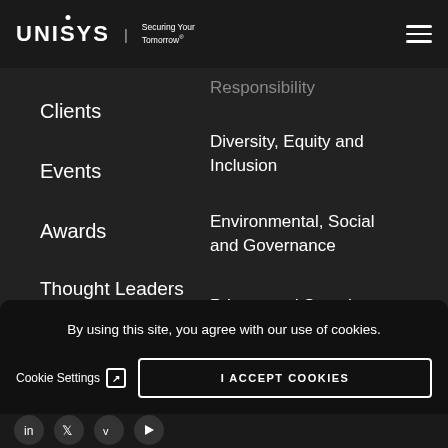UNISYS | Securing Your Tomorrow®
Clients
Events
Awards
Thought Leaders
Responsibility
Diversity, Equity and Inclusion
Environmental, Social and Governance
Privacy and Security
Glossary
By using this site, you agree with our use of cookies.
Cookie Settings ↗
I ACCEPT COOKIES